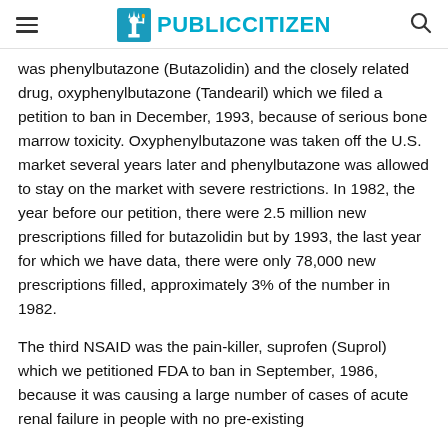PUBLIC CITIZEN
was phenylbutazone (Butazolidin) and the closely related drug, oxyphenylbutazone (Tandearil) which we filed a petition to ban in December, 1993, because of serious bone marrow toxicity. Oxyphenylbutazone was taken off the U.S. market several years later and phenylbutazone was allowed to stay on the market with severe restrictions. In 1982, the year before our petition, there were 2.5 million new prescriptions filled for butazolidin but by 1993, the last year for which we have data, there were only 78,000 new prescriptions filled, approximately 3% of the number in 1982.
The third NSAID was the pain-killer, suprofen (Suprol) which we petitioned FDA to ban in September, 1986, because it was causing a large number of cases of acute renal failure in people with no pre-existing